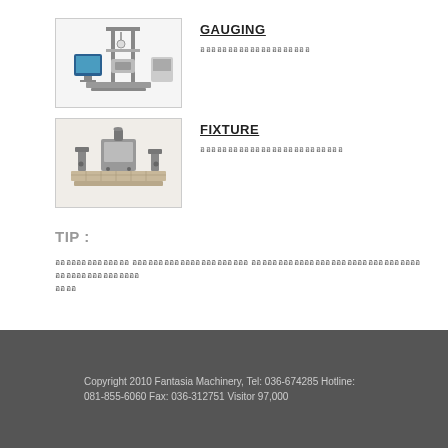[Figure (photo): Gauging machine/equipment photo]
GAUGING
ออออออออออออออออออออ
[Figure (photo): Fixture equipment photo]
FIXTURE
ออออออออออออออออออออออออออ
TIP :
ออออออออออออออ ออออออออออออออออออออออ ออออออออออออออออออออออออออออออออออออออออออออออออ ออออ
Copyright 2010 Fantasia Machinery, Tel: 036-674285 Hotline: 081-855-6060 Fax: 036-312751 Visitor 97,000